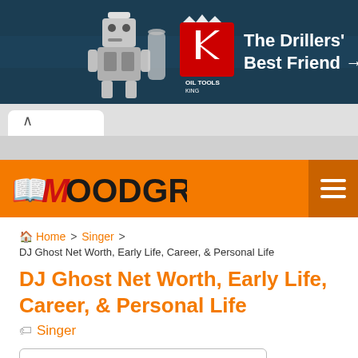[Figure (photo): King Oil Tools advertisement banner — 'The Drillers' Best Friend →' with robot mascot and red K logo on dark blue background]
Woodgram — navigation bar with logo and hamburger menu
Home > Singer > DJ Ghost Net Worth, Early Life, Career, & Personal Life
DJ Ghost Net Worth, Early Life, Career, & Personal Life
Singer
Table of Contents
1. DJ Ghost Early Life
2. DJ Ghost Career